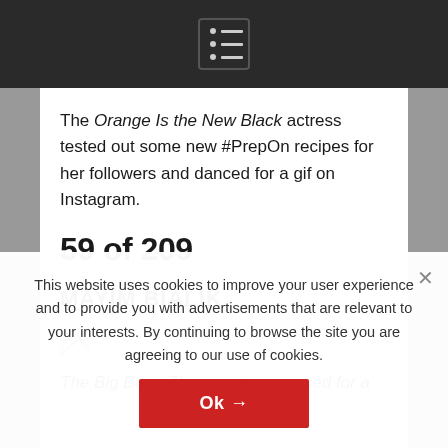[Menu icon / navigation bar]
The Orange Is the New Black actress tested out some new #PrepOn recipes for her followers and danced for a gif on Instagram.
59 of 209
MAYIM BIALIK
[Figure (photo): Broken image placeholder thumbnail]
The Big Bang Theory actress posed for a
This website uses cookies to improve your user experience and to provide you with advertisements that are relevant to your interests. By continuing to browse the site you are agreeing to our use of cookies.